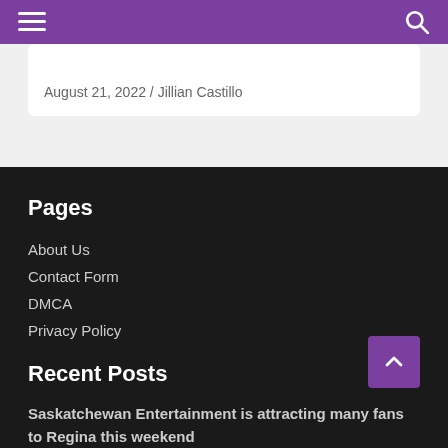[hamburger menu] [search icon]
August 21, 2022 / Jillian Castillo
Pages
About Us
Contact Form
DMCA
Privacy Policy
Recent Posts
Saskatchewan Entertainment is attracting many fans to Regina this weekend